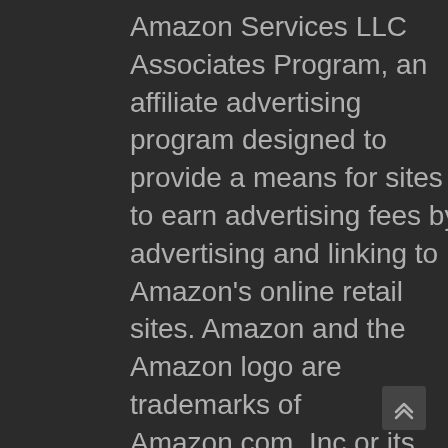Amazon Services LLC Associates Program, an affiliate advertising program designed to provide a means for sites to earn advertising fees by advertising and linking to Amazon's online retail sites. Amazon and the Amazon logo are trademarks of Amazon.com, Inc or its affiliates.
Please note that the product reviews written are not influenced by the manufacturers or vendors. By writing real reviews the aim is to deliver quality